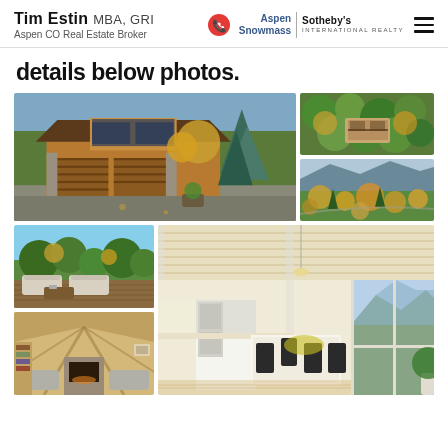Tim Estin MBA, GRI | Aspen CO Real Estate Broker | Aspen Snowmass Sotheby's International Realty
details below photos.
[Figure (photo): Exterior front view of a luxury mountain home with wood and stone construction, large garage, blue spruce trees, autumn foliage]
[Figure (photo): Aerial view of luxury mountain home surrounded by dense fall-colored forest]
[Figure (photo): Aerial view of mountain valley with fall foliage and residential properties]
[Figure (photo): Outdoor deck/patio with modern furniture, trees and mountain view in background]
[Figure (photo): Interior view of sunlit living/dining room with wood-paneled ceiling, kitchen in background, mountain views]
[Figure (photo): Interior living room with vaulted wood ceiling, stone fireplace, gray sofas]
[Figure (photo): Interior sunroom/dining area with large windows showing mountain views, modern furniture]